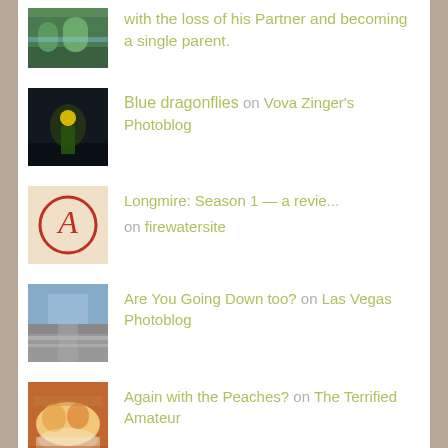with the loss of his Partner and becoming a single parent.
Blue dragonflies on Vova Zinger's Photoblog
Longmire: Season 1 — a revie… on firewatersite
Are You Going Down too? on Las Vegas Photoblog
Again with the Peaches? on The Terrified Amateur
Power Plant Summer Help Sanity… on Power Plant Men
[Figure (photo): Thumbnail of trees/landscape photo]
[Figure (photo): Thumbnail of yellow flower on dark background]
[Figure (photo): Thumbnail of circled letter A grade]
[Figure (photo): Thumbnail of Las Vegas road/cityscape]
[Figure (photo): Thumbnail of peach food dish]
[Figure (photo): Thumbnail of toy/figurine]